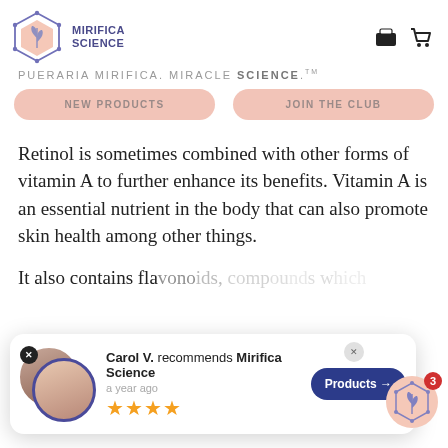[Figure (logo): Mirifica Science hexagon logo with plant/leaf icon inside, connected by dots at corners]
MIRIFICA SCIENCE
PUERARIA MIRIFICA. MIRACLE SCIENCE.™
NEW PRODUCTS
JOIN THE CLUB
Retinol is sometimes combined with other forms of vitamin A to further enhance its benefits. Vitamin A is an essential nutrient in the body that can also promote skin health among other things.
It also contains flavonoids, compounds which can also ... n can ... can h
[Figure (screenshot): Social proof popup overlay: Carol V. recommends Mirifica Science, a year ago, 4 stars, Products button]